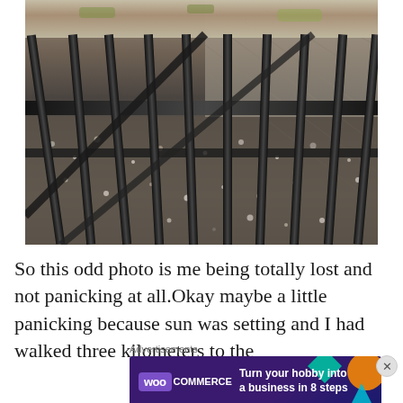[Figure (photo): Close-up photo of black iron railings or fence bars over stone cobblestone pavement with gravel and small stones scattered on the ground. The bars are vertical and diagonal, with a mossy stone ledge or coping at the top. The perspective is looking down through the bars at the rough stone ground below.]
So this odd photo is me being totally lost and not panicking at all.Okay maybe a little panicking because sun was setting and I had walked three kilometers to the
Advertisements
[Figure (other): WooCommerce advertisement banner with purple background, geometric colorful shapes (teal diamond, orange circle, cyan triangle), showing WooCommerce logo and text: Turn your hobby into a business in 8 steps]